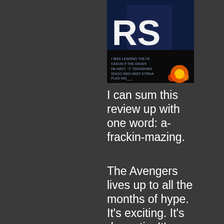[Figure (photo): Movie poster for The Avengers, showing partial text 'RS' in large white letters, action scene with fire/explosions on dark background, with credits text at bottom]
I can sum this review up with one word: a-frackin-mazing.
The Avengers lives up to all the months of hype. It's exciting. It's dramatic. It's funny. It provides